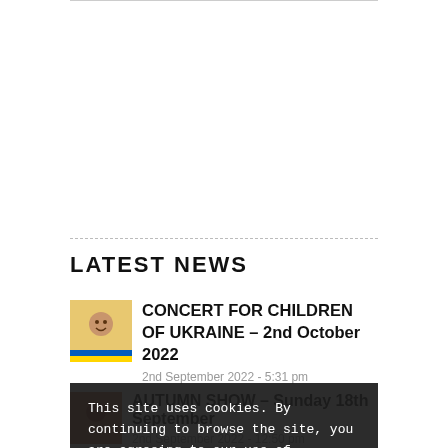LATEST NEWS
CONCERT FOR CHILDREN OF UKRAINE – 2nd October 2022
2nd September 2022 - 5:31 pm
AUTUMN SHOW – Sunday 18th September
2nd September 2022 - 12:50 pm
WINCHELSEA BONFIRE NIGHT – Saturday 17th September
2nd September 2022 - 12:52 am
This site uses cookies. By continuing to browse the site, you are agreeing to our use of cookies.
WINCHELSEA SUMMER FETE – Saturday 13th